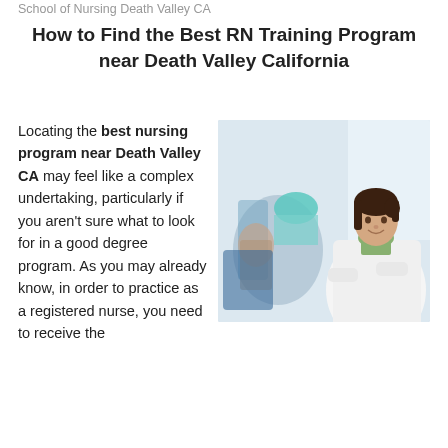School of Nursing Death Valley CA
How to Find the Best RN Training Program near Death Valley California
[Figure (photo): A smiling female nurse in a white coat with arms crossed, with a blurred background showing a medical professional and patient in a clinical setting.]
Locating the best nursing program near Death Valley CA may feel like a complex undertaking, particularly if you aren't sure what to look for in a good degree program. As you may already know, in order to practice as a registered nurse, you need to receive the